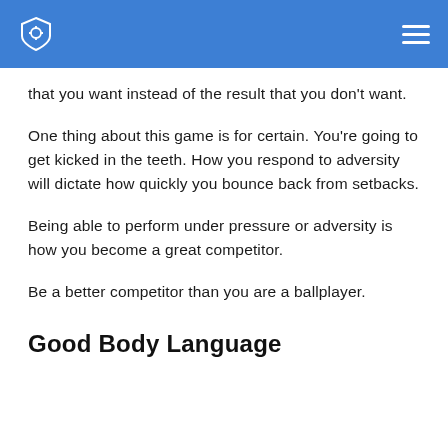that you want instead of the result that you don't want.
One thing about this game is for certain. You're going to get kicked in the teeth. How you respond to adversity will dictate how quickly you bounce back from setbacks.
Being able to perform under pressure or adversity is how you become a great competitor.
Be a better competitor than you are a ballplayer.
Good Body Language